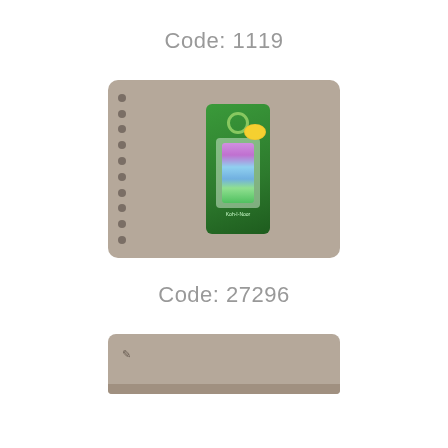Code: 1119
[Figure (photo): Product photo showing a blister-packed set of pencils or drawing supplies on a spiral notebook background. Green packaging with a hook hole at the top, colorful pencils visible through clear blister.]
Code: 27296
[Figure (photo): Partial product photo showing top edge of a tan/beige item (likely a notebook or pad) with rounded corners, partially cut off at the bottom of the page.]